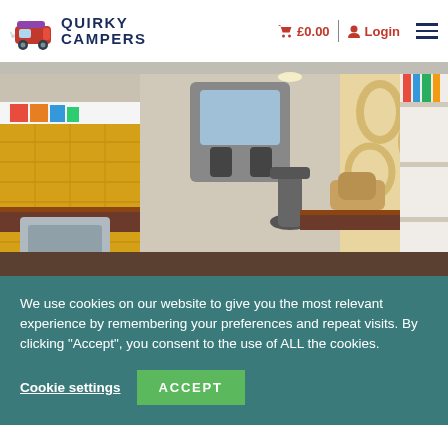Quirky Campers — £0.00 Login
[Figure (photo): Interior of a campervan conversion showing a wood-topped kitchen counter with a stainless steel sink on the left, yellow subway tile backsplash, wooden countertops on both sides, a swivel chair in the center, and the van cab/front seats visible in the background.]
We use cookies on our website to give you the most relevant experience by remembering your preferences and repeat visits. By clicking "Accept", you consent to the use of ALL the cookies.
Cookie settings   ACCEPT